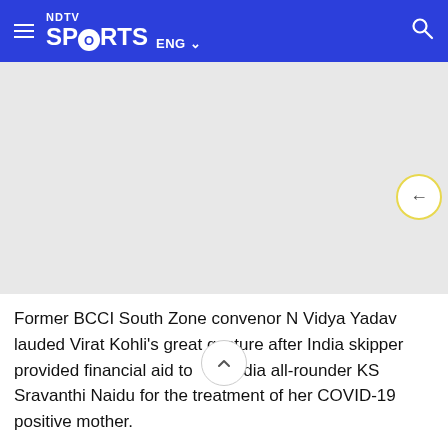NDTV SPORTS ENG
[Figure (photo): Gray placeholder image area for an article photo]
Former BCCI South Zone convenor N Vidya Yadav lauded Virat Kohli's great gesture after India skipper provided financial aid to dia all-rounder KS Sravanthi Naidu for the treatment of her COVID-19 positive mother.